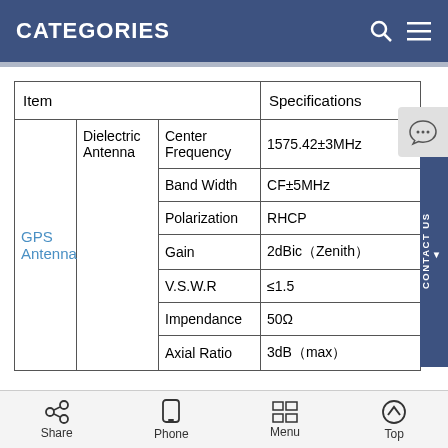CATEGORIES
| Item |  |  | Specifications |
| --- | --- | --- | --- |
| GPS Antenna | Dielectric Antenna | Center Frequency | 1575.42±3MHz |
|  |  | Band Width | CF±5MHz |
|  |  | Polarization | RHCP |
|  |  | Gain | 2dBic（Zenith） |
|  |  | V.S.W.R | ≤1.5 |
|  |  | Impendance | 50Ω |
|  |  | Axial Ratio | 3dB（max） |
Share  Phone  Menu  Top